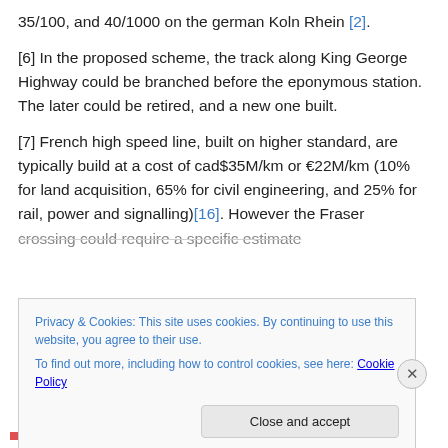35/100, and 40/1000 on the german Koln Rhein [2].
[6] In the proposed scheme, the track along King George Highway could be branched before the eponymous station. The later could be retired, and a new one built.
[7] French high speed line, built on higher standard, are typically build at a cost of cad$35M/km or €22M/km (10% for land acquisition, 65% for civil engineering, and 25% for rail, power and signalling)[16]. However the Fraser crossing could require a specific estimate
Privacy & Cookies: This site uses cookies. By continuing to use this website, you agree to their use.
To find out more, including how to control cookies, see here: Cookie Policy